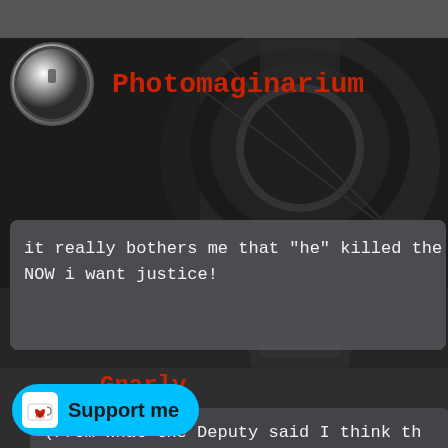[Figure (screenshot): Dark themed social media or forum page screenshot with dark background showing a watch/mechanical object]
Photomaginarium
it really bothers me that "he" killed the
NOW i want justice!
Gnarly
(From what the Deputy said I think th
Support me